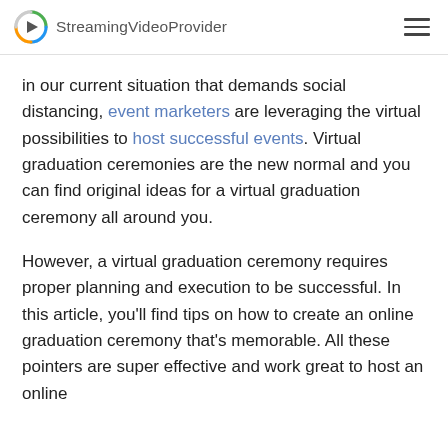StreamingVideoProvider
in our current situation that demands social distancing, event marketers are leveraging the virtual possibilities to host successful events. Virtual graduation ceremonies are the new normal and you can find original ideas for a virtual graduation ceremony all around you.
However, a virtual graduation ceremony requires proper planning and execution to be successful. In this article, you'll find tips on how to create an online graduation ceremony that's memorable. All these pointers are super effective and work great to host an online